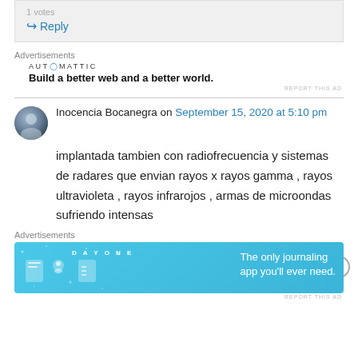1 votes
↳ Reply
Advertisements
AUTOMATTIC
Build a better web and a better world.
REPORT THIS AD
Inocencia Bocanegra on September 15, 2020 at 5:10 pm
implantada tambien con radiofrecuencia y sistemas de radares que envian rayos x rayos gamma , rayos ultravioleta , rayos infrarojos , armas de microondas sufriendo intensas
Advertisements
[Figure (illustration): Day One journaling app advertisement banner with blue background, app icons, and text: The only journaling app you'll ever need.]
REPORT THIS AD